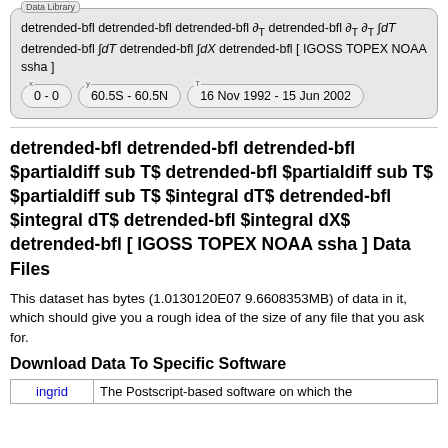detrended-bfl detrended-bfl detrended-bfl ∂T detrended-bfl ∂T ∂T ∫dT detrended-bfl ∫dT detrended-bfl ∫dX detrended-bfl [ IGOSS TOPEX NOAA ssha ]
0 - 0
60.5S - 60.5N
16 Nov 1992 - 15 Jun 2002
detrended-bfl detrended-bfl detrended-bfl $partialdiff sub T$ detrended-bfl $partialdiff sub T$ $partialdiff sub T$ $integral dT$ detrended-bfl $integral dT$ detrended-bfl $integral dX$ detrended-bfl [ IGOSS TOPEX NOAA ssha ] Data Files
This dataset has bytes (1.0130120E07 9.6608353MB) of data in it, which should give you a rough idea of the size of any file that you ask for.
Download Data To Specific Software
|  |  |
| --- | --- |
| ingrid | The Postscript-based software on which the |